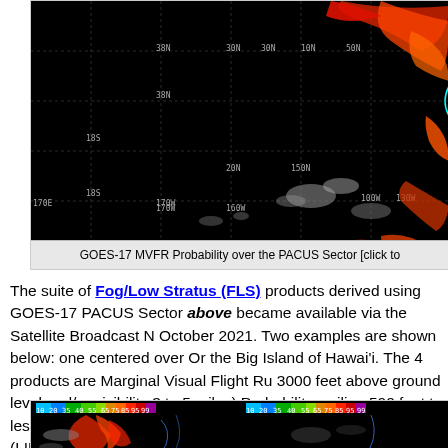[Figure (photo): GOES-17 MVFR Probability satellite image over the PACUS Sector, showing cloud patterns with false-color enhancement (black background, white/grey clouds, red/orange highlighted areas), with grid lines and coordinate labels]
GOES-17 MVFR Probability over the PACUS Sector [click to
The suite of Fog/Low Stratus (FLS) products derived using GOES-17 PACUS Sector (above) became available via the Satellite Broadcast N October 2021. Two examples are shown below: one centered over Or the Big Island of Hawai'i. The 4 products are Marginal Visual Flight Ru 3000 feet above ground level and/or visibility 3 to 5 miles) Probability, ceiling 500 feet to less than 1000 feet and/or visibility 1 to less than 3 Flight Rules (LIFR, cloud ceiling less than 500 feet and/or visibility less Thickness.
[Figure (photo): Partial view of GOES-17 FLS product satellite images showing two panels side by side with color bar at top indicating probability values]